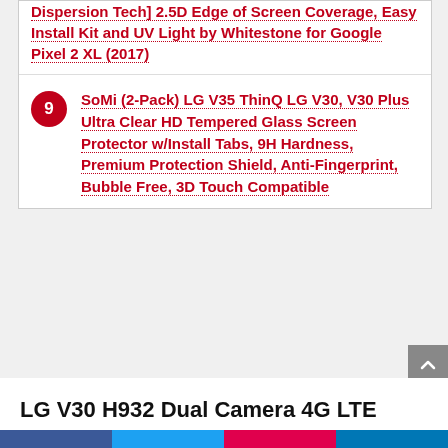Dispersion Tech] 2.5D Edge of Screen Coverage, Easy Install Kit and UV Light by Whitestone for Google Pixel 2 XL (2017)
9 SoMi (2-Pack) LG V35 ThinQ LG V30, V30 Plus Ultra Clear HD Tempered Glass Screen Protector w/Install Tabs, 9H Hardness, Premium Protection Shield, Anti-Fingerprint, Bubble Free, 3D Touch Compatible
LG V30 H932 Dual Camera 4G LTE 64GB Silver (T-Mobile)